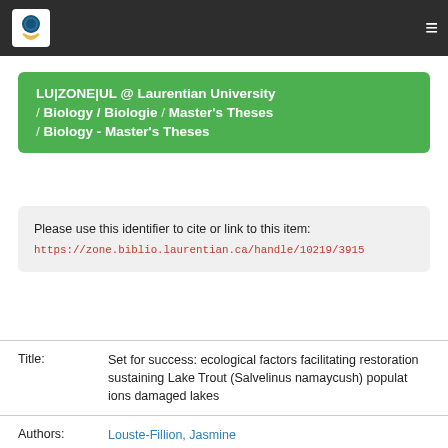LU|ZONE|UL @ Laurentian University / Biology / Biologie / Master's Theses / Biology - Master's Theses
Please use this identifier to cite or link to this item: https://zone.biblio.laurentian.ca/handle/10219/3915
| Field | Value |
| --- | --- |
| Title: | Set for success: ecological factors facilitating restoration and sustaining Lake Trout (Salvelinus namaycush) populations in acid-damaged lakes |
| Authors: | Louste-Fillion, Jasmine |
| Keywords: | Lake trout (Salvelinus namaycush);acidification;Sudbury;stocking;zooplankto |